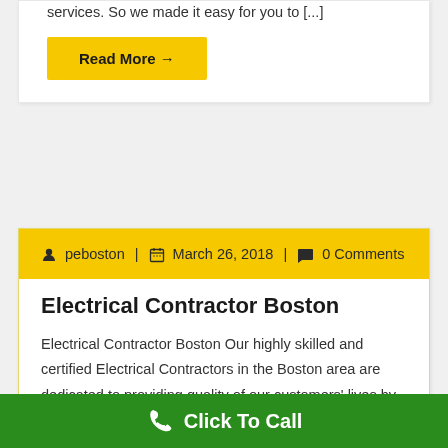services. So we made it easy for you to [...]
Read More →
peboston  |  March 26, 2018  |  0 Comments
Electrical Contractor Boston
Electrical Contractor Boston Our highly skilled and certified Electrical Contractors in the Boston area are dedicated to providing quality of our customers' lives by increasing comfort, safety and value. Whether you have a light fixture
Click To Call